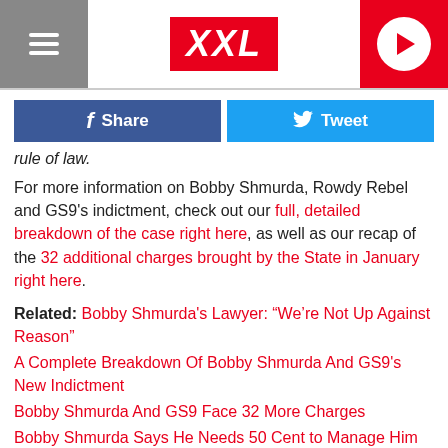XXL
Share  Tweet
rule of law.
For more information on Bobby Shmurda, Rowdy Rebel and GS9's indictment, check out our full, detailed breakdown of the case right here, as well as our recap of the 32 additional charges brought by the State in January right here.
Related: Bobby Shmurda's Lawyer: “We’re Not Up Against Reason”
A Complete Breakdown Of Bobby Shmurda And GS9's New Indictment
Bobby Shmurda And GS9 Face 32 More Charges
Bobby Shmurda Says He Needs 50 Cent to Manage Him